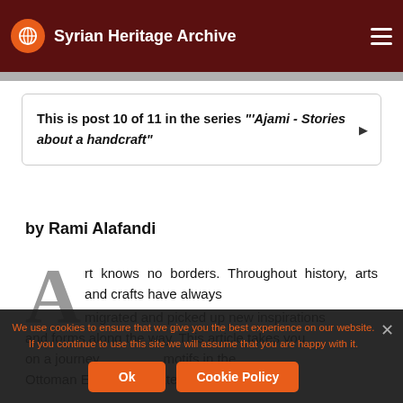Syrian Heritage Archive
This is post 10 of 11 in the series "'Ajami - Stories about a handcraft"
by Rami Alafandi
Art knows no borders. Throughout history, arts and crafts have always ... and forms along the way. This article takes you on a journey ... motifs in the Ottoman Empire illustrated by the example of
We use cookies to ensure that we give you the best experience on our website. If you continue to use this site we will assume that you are happy with it.